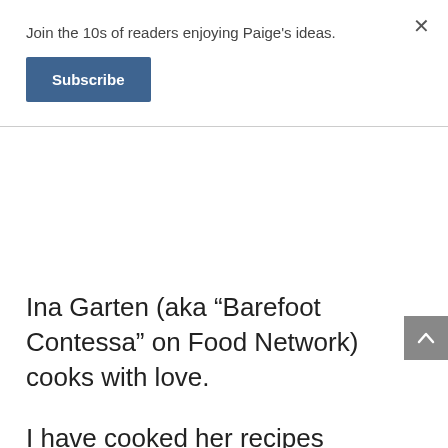Join the 10s of readers enjoying Paige’s ideas.
Subscribe
Ina Garten (aka “Barefoot Contessa” on Food Network) cooks with love.
I have cooked her recipes dozens of times, making sure to follow